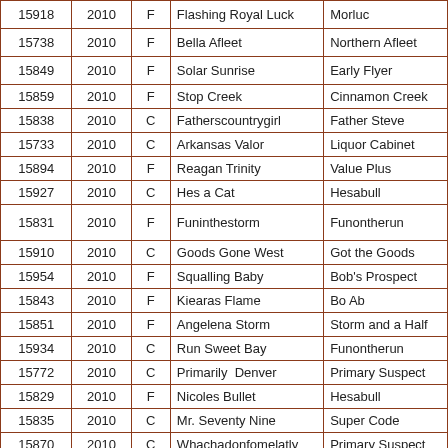| 15918 | 2010 | F | Flashing Royal Luck | Morluc |
| 15738 | 2010 | F | Bella Afleet | Northern Afleet |
| 15849 | 2010 | F | Solar Sunrise | Early Flyer |
| 15859 | 2010 | F | Stop Creek | Cinnamon Creek |
| 15838 | 2010 | C | Fatherscountrygirl | Father Steve |
| 15733 | 2010 | C | Arkansas Valor | Liquor Cabinet |
| 15894 | 2010 | F | Reagan Trinity | Value Plus |
| 15927 | 2010 | C | Hes a Cat | Hesabull |
| 15831 | 2010 | F | Funinthestorm | Funontherun |
| 15910 | 2010 | C | Goods Gone West | Got the Goods |
| 15954 | 2010 | F | Squalling Baby | Bob's Prospect |
| 15843 | 2010 | F | Kiearas Flame | Bo Ab |
| 15851 | 2010 | F | Angelena Storm | Storm and a Half |
| 15934 | 2010 | C | Run Sweet Bay | Funontherun |
| 15772 | 2010 | C | Primarily  Denver | Primary Suspect |
| 15829 | 2010 | F | Nicoles Bullet | Hesabull |
| 15835 | 2010 | C | Mr. Seventy Nine | Super Code |
| 15870 | 2010 | C | Whachadonfomelatly | Primary Suspect |
| 15738 | 2010 | F | More Than Keen | Pearldale |